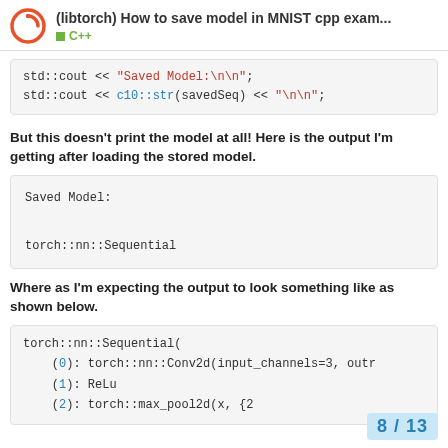(libtorch) How to save model in MNIST cpp exam... C++
std::cout << "Saved Model:\n\n";
std::cout << c10::str(savedSeq) << "\n\n";
But this doesn't print the model at all! Here is the output I'm getting after loading the stored model.
Saved Model:

torch::nn::Sequential
Where as I'm expecting the output to look something like as shown below.
torch::nn::Sequential(
  (0): torch::nn::Conv2d(input_channels=3, outr
  (1): ReLu
  (2): torch::max_pool2d(x, {2